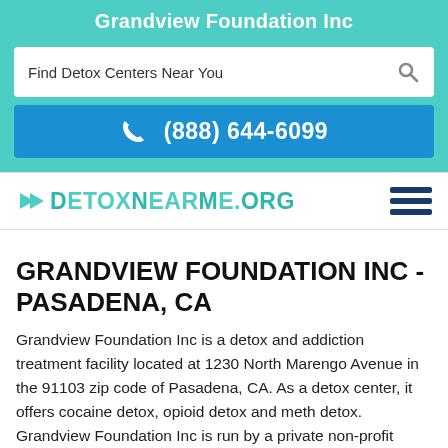Grandview Foundation Inc
Find Detox Centers Near You
(888) 644-6099
[Figure (logo): DetoxNearMe.org logo with teal chevron/arrow icon and hamburger menu icon]
GRANDVIEW FOUNDATION INC - PASADENA, CA
Grandview Foundation Inc is a detox and addiction treatment facility located at 1230 North Marengo Avenue in the 91103 zip code of Pasadena, CA. As a detox center, it offers cocaine detox, opioid detox and meth detox. Grandview Foundation Inc is run by a private non-profit